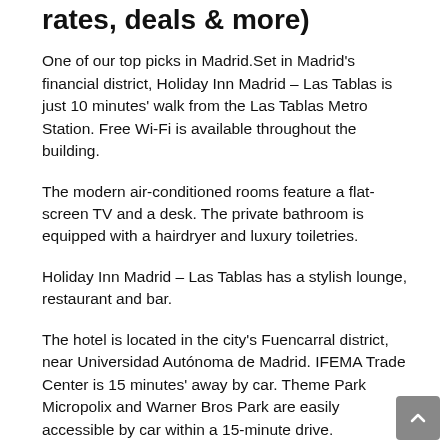rates, deals & more)
One of our top picks in Madrid.Set in Madrid's financial district, Holiday Inn Madrid – Las Tablas is just 10 minutes' walk from the Las Tablas Metro Station. Free Wi-Fi is available throughout the building.
The modern air-conditioned rooms feature a flat-screen TV and a desk. The private bathroom is equipped with a hairdryer and luxury toiletries.
Holiday Inn Madrid – Las Tablas has a stylish lounge, restaurant and bar.
The hotel is located in the city's Fuencarral district, near Universidad Autónoma de Madrid. IFEMA Trade Center is 15 minutes' away by car. Theme Park Micropolix and Warner Bros Park are easily accessible by car within a 15-minute drive.
Brief reviews (in English and other languages)